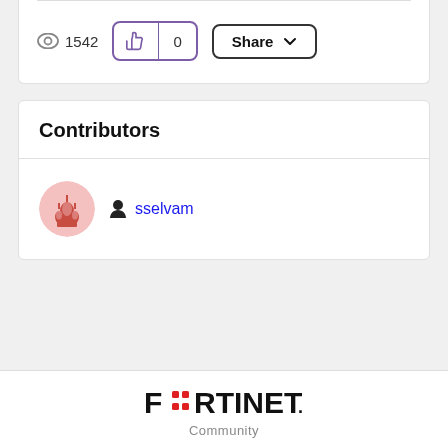1542 views, 0 likes, Share button
Contributors
sselvam
[Figure (logo): Fortinet Community logo — FORTINET wordmark in red and black with Community label below]